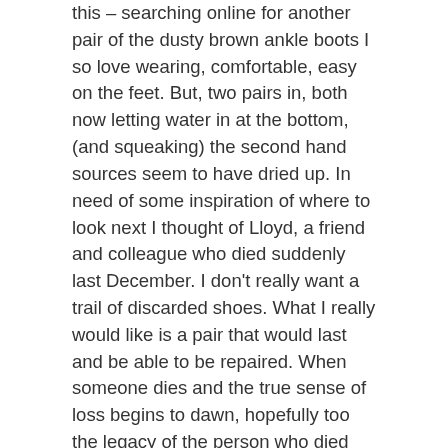this – searching online for another pair of the dusty brown ankle boots I so love wearing, comfortable, easy on the feet. But, two pairs in, both now letting water in at the bottom, (and squeaking) the second hand sources seem to have dried up. In need of some inspiration of where to look next I thought of Lloyd, a friend and colleague who died suddenly last December. I don't really want a trail of discarded shoes. What I really would like is a pair that would last and be able to be repaired. When someone dies and the true sense of loss begins to dawn, hopefully too the legacy of the person who died begins to show through more strongly. Lloyd's legacy to me, so far, is a pair of shoes. Or, at least, the inspiration of how and where to look.  He was fastidious in his research from beloved cars to pairs of jeans the latter made in Wales to last – the Hiut Jeans no-wash club meant that in Lloyd's freezer amongst the frozen peas you may have found at least one pair of Jeans. Products designed to last or be repaired (and for free from Hiut).